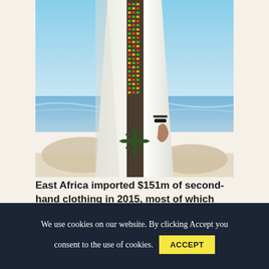[Figure (photo): A woman wearing a traditional white Ethiopian dress with ornate colorful embroidered patterns along the front and hem, standing on a rocky beach with blue sky and ocean in the background.]
East Africa imported $151m of second-hand clothing in 2015, most of which had been collected by charities and recyclers in Europe and North America
We use cookies on our website. By clicking Accept you consent to the use of cookies.